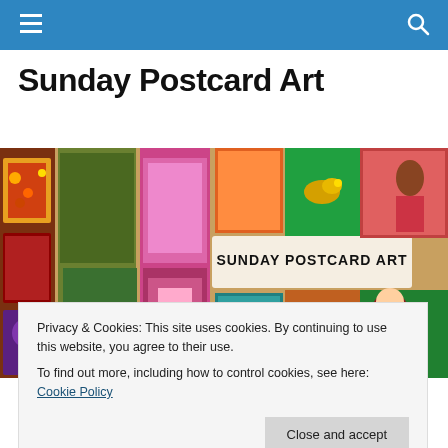Sunday Postcard Art — navigation bar
Sunday Postcard Art
[Figure (photo): Collage banner image showing multiple colorful mixed-media postcards with text 'SUNDAY POSTCARD ART' overlaid in center]
Privacy & Cookies: This site uses cookies. By continuing to use this website, you agree to their use.
To find out more, including how to control cookies, see here: Cookie Policy
Close and accept